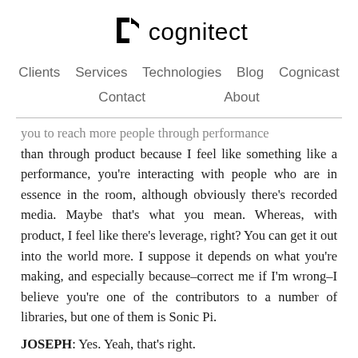cognitect
Clients   Services   Technologies   Blog   Cognicast   Contact   About
...you to reach more people through performance than through product because I feel like something like a performance, you're interacting with people who are in essence in the room, although obviously there's recorded media. Maybe that's what you mean. Whereas, with product, I feel like there's leverage, right? You can get it out into the world more. I suppose it depends on what you're making, and especially because–correct me if I'm wrong–I believe you're one of the contributors to a number of libraries, but one of them is Sonic Pi.
JOSEPH: Yes. Yeah, that's right.
CRAIG: I mean I'm just a little surprised to hear that you...